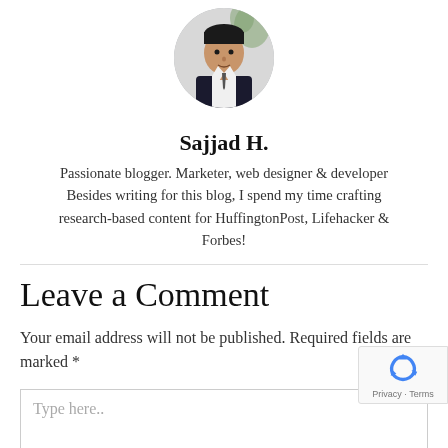[Figure (photo): Circular avatar photo of a man in a dark suit with a white shirt, cropped portrait style, against a light background with some greenery.]
Sajjad H.
Passionate blogger. Marketer, web designer & developer Besides writing for this blog, I spend my time crafting research-based content for HuffingtonPost, Lifehacker & Forbes!
Leave a Comment
Your email address will not be published. Required fields are marked *
Type here..